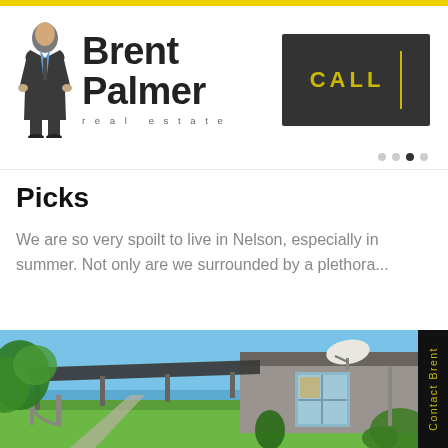Brent Palmer real estate — CALL
Picks
We are so very spoilt to live in Nelson, especially in summer. Not only are we surrounded by a plethora...
[Figure (photo): Exterior photo of a house with a covered pergola area, green lawn, stone arch, and blue sky. A satellite dish is visible on the roof.]